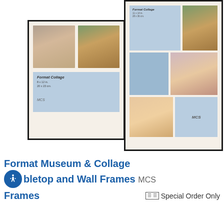[Figure (photo): Two photo frames (Format Museum & Collage frames by MCS): a smaller tabletop frame on the left showing two portrait photos and a blue branded label, and a larger wall frame on the right showing multiple photos in a collage arrangement with a blue MCS label.]
Format Museum & Collage Tabletop and Wall Frames MCS
Frames
Special Order Only